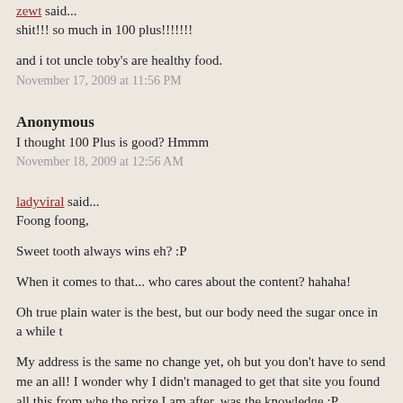zewt said...
shit!!! so much in 100 plus!!!!!!!
and i tot uncle toby's are healthy food.
November 17, 2009 at 11:56 PM
Anonymous
I thought 100 Plus is good? Hmmm
November 18, 2009 at 12:56 AM
ladyviral said...
Foong foong,
Sweet tooth always wins eh? :P
When it comes to that... who cares about the content? hahaha!
Oh true plain water is the best, but our body need the sugar once in a while t
My address is the same no change yet, oh but you don't have to send me an all! I wonder why I didn't managed to get that site you found all this from whe the prize I am after, was the knowledge :P.
November 18, 2009 at 9:17 AM
Monica said...
oh no those are my fave food! :-D